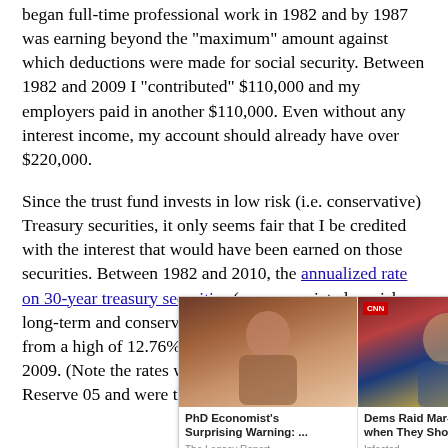began full-time professional work in 1982 and by 1987 was earning beyond the "maximum" amount against which deductions were made for social security. Between 1982 and 2009 I "contributed" $110,000 and my employers paid in another $110,000. Even without any interest income, my account should already have over $220,000.
Since the trust fund invests in low risk (i.e. conservative) Treasury securities, it only seems fair that I be credited with the interest that would have been earned on those securities. Between 1982 and 2010, the annualized rate on 30-year treasury securities (an appropriate low risk, long-term and conservative investment choice) ranged from a high of 12.76% in 1982 to a low of 4.08% in 2009. (Note the rates were not available from the Federal Reserve [...]05 and were thu[...] interest rates and[...] account balance [...] 2010. In fact I wo[...] during
[Figure (other): Ad overlay showing two sponsored content items: 'PhD Economist's Surprising Warning: ...' from The Legacy Report, and 'Dems Raid Mar-A-Lago when They Should b...' from Infected. A close (X) button is in the top right.]